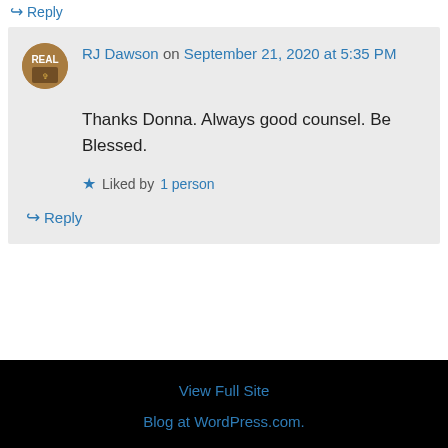↪ Reply
RJ Dawson on September 21, 2020 at 5:35 PM
Thanks Donna. Always good counsel. Be Blessed.
Liked by 1 person
↪ Reply
View Full Site
Blog at WordPress.com.